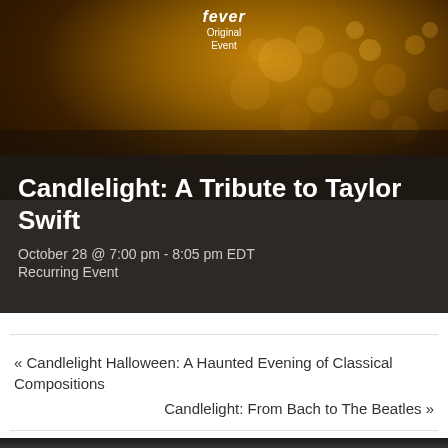[Figure (photo): Dark bokeh background with warm golden/amber tones, with Fever Original Event badge at top center]
Candlelight: A Tribute to Taylor Swift
October 28 @ 7:00 pm - 8:05 pm EDT
Recurring Event
« Candlelight Halloween: A Haunted Evening of Classical Compositions
Candlelight: From Bach to The Beatles »